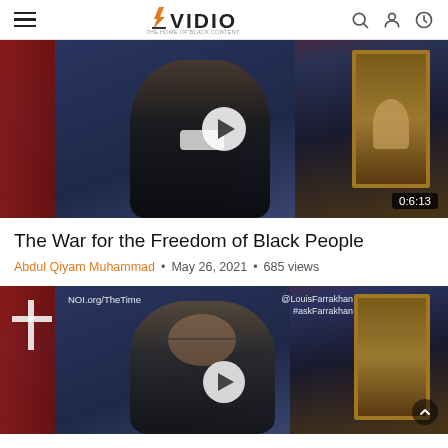AVIDIO
[Figure (screenshot): Video thumbnail showing a man in a black suit and tie speaking in front of a blue curtain background with a portrait painting visible to the right. Duration badge shows 0:6:13.]
The War for the Freedom of Black People
Abdul Qiyam Muhammad • May 26, 2021 • 685 views
[Figure (screenshot): Second video thumbnail showing a man wearing glasses and smiling, in front of similar blue curtain background and portrait. Watermarks show NOI.org/TheTime on the left and @LouisFarrakhan #askFarrakhan on the right.]